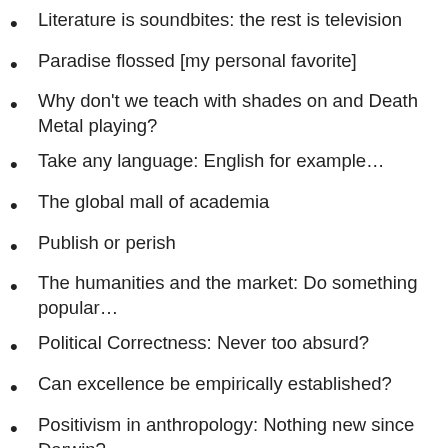Literature is soundbites: the rest is television
Paradise flossed [my personal favorite]
Why don't we teach with shades on and Death Metal playing?
Take any language: English for example…
The global mall of academia
Publish or perish
The humanities and the market: Do something popular…
Political Correctness: Never too absurd?
Can excellence be empirically established?
Positivism in anthropology: Nothing new since Darwin?
Analytical philosophy: A bunker?
A number is not a whole lot do…